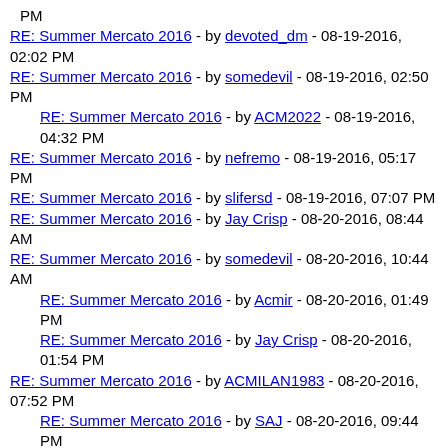PM
RE: Summer Mercato 2016 - by devoted_dm - 08-19-2016, 02:02 PM
RE: Summer Mercato 2016 - by somedevil - 08-19-2016, 02:50 PM
RE: Summer Mercato 2016 - by ACM2022 - 08-19-2016, 04:32 PM
RE: Summer Mercato 2016 - by nefremo - 08-19-2016, 05:17 PM
RE: Summer Mercato 2016 - by slifersd - 08-19-2016, 07:07 PM
RE: Summer Mercato 2016 - by Jay Crisp - 08-20-2016, 08:44 AM
RE: Summer Mercato 2016 - by somedevil - 08-20-2016, 10:44 AM
RE: Summer Mercato 2016 - by Acmir - 08-20-2016, 01:49 PM
RE: Summer Mercato 2016 - by Jay Crisp - 08-20-2016, 01:54 PM
RE: Summer Mercato 2016 - by ACMILAN1983 - 08-20-2016, 07:52 PM
RE: Summer Mercato 2016 - by SAJ - 08-20-2016, 09:44 PM
RE: Summer Mercato 2016 - by ACM2022 - 08-21-2016, 02:52 AM
RE: Summer Mercato 2016 - by reza - 08-21-2016, 03:13 AM